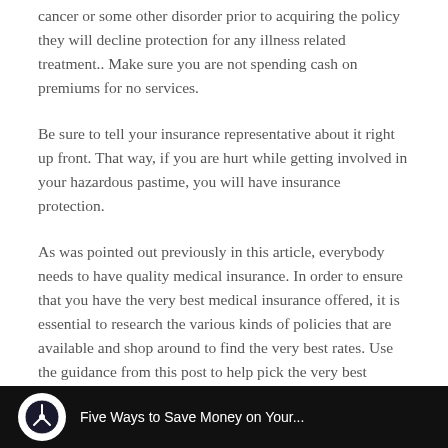cancer or some other disorder prior to acquiring the policy they will decline protection for any illness related treatment.. Make sure you are not spending cash on premiums for no services.
Be sure to tell your insurance representative about it right up front. That way, if you are hurt while getting involved in your hazardous pastime, you will have insurance protection.
As was pointed out previously in this article, everybody needs to have quality medical insurance. In order to ensure that you have the very best medical insurance offered, it is essential to research the various kinds of policies that are available and shop around to find the very best rates. Use the guidance from this post to help pick the very best medical insurance prepare for you and your household.
[Figure (other): Dark footer bar with circular logo icon and partially visible text]